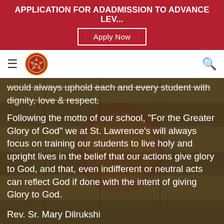APPLICATION FOR ADADMISSION TO ADVANCE LEV...
Apply Now
[Figure (logo): School crest/logo circular emblem in red and gold]
would always uphold each and every student with dignity, love & respect.
Following the motto of our school, "For the Greater Glory of God" we at St. Lawrence's will always focus on training our students to live holy and upright lives in the belief that our actions give glory to God, and that, even indifferent or neutral acts can reflect God if done with the intent of giving Glory to God.
Rev. Sr. Mary Dilrukshi